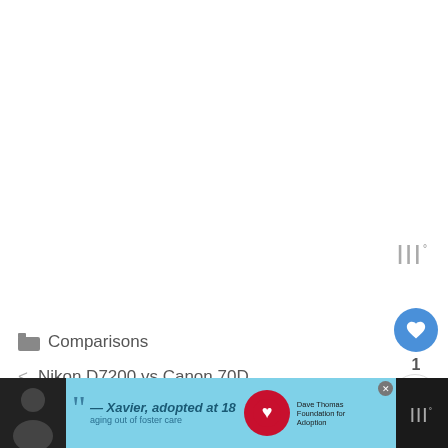[Figure (other): Blank white content area (main page body, mostly empty/white)]
|||°
Comparisons
< Nikon D7200 vs Canon 70D
> Canon 5D Mark II vs Canon 5D Mark III
[Figure (other): Bottom advertisement banner: dark bar with photo of person, light blue background with quote '— Xavier, adopted at 18', Dave Thomas Foundation for Adoption logo, close button]
|||°